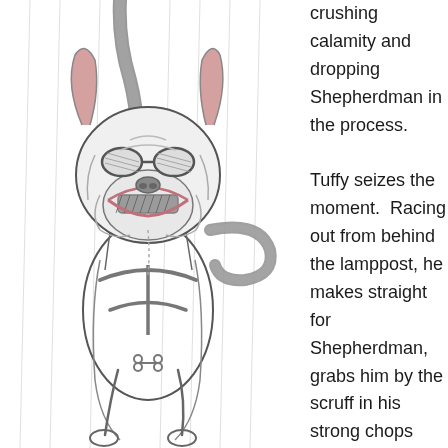[Figure (illustration): Pencil sketch illustration of a bulldog-type dog running forward wearing a harness with a bone symbol, biting a leash/strap, with pink-colored ears and mouth visible, rain lines in the background.]
crushing calamity and dropping Shepherdman in the process.

Tuffy seizes the moment.  Racing out from behind the lamppost, he makes straight for Shepherdman, grabs him by the scruff in his strong chops and scarpers down Drakefield Road. Right to the ends of it, past